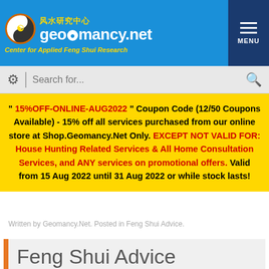[Figure (logo): Geomancy.net logo with yin-yang icon, Chinese text 风水研究中心, site name geomancy.net, and tagline Center for Applied Feng Shui Research on blue background]
Search for...
" 15%OFF-ONLINE-AUG2022 " Coupon Code (12/50 Coupons Available) - 15% off all services purchased from our online store at Shop.Geomancy.Net Only. EXCEPT NOT VALID FOR: House Hunting Related Services & All Home Consultation Services, and ANY services on promotional offers. Valid from 15 Aug 2022 until 31 Aug 2022 or while stock lasts!
Written by Geomancy.Net. Posted in Feng Shui Advice.
Feng Shui Advice